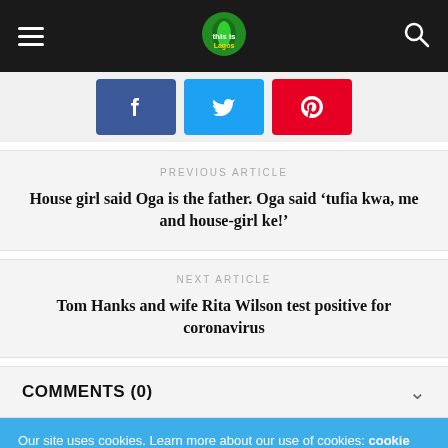Navigation bar with hamburger menu, site logo, and search icon
[Figure (other): Social share buttons: Facebook (blue), Twitter (light blue), Pinterest (red)]
PREVIOUS ARTICLE
House girl said Oga is the father. Oga said ‘tufia kwa, me and house-girl ke!’
NEXT ARTICLE
Tom Hanks and wife Rita Wilson test positive for coronavirus
COMMENTS (0)
Our site uses cookies. Learn more about our use of cookies: cookie policy
ACCEPT